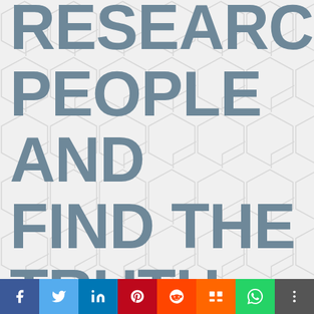RESEARCH PEOPLE AND FIND THE TRUTH. STOP...
[Figure (infographic): Social media sharing bar with icons: Facebook, Twitter, LinkedIn, Pinterest, Reddit, Mix, WhatsApp, More]